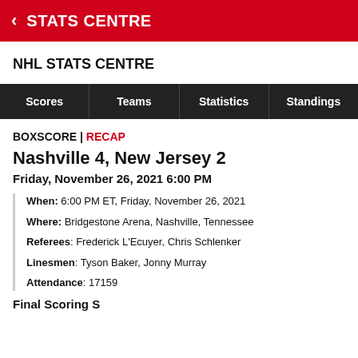STATS CENTRE
NHL STATS CENTRE
Scores  Teams  Statistics  Standings
BOXSCORE | RECAP
Nashville 4, New Jersey 2
Friday, November 26, 2021 6:00 PM
When: 6:00 PM ET, Friday, November 26, 2021
Where: Bridgestone Arena, Nashville, Tennessee
Referees: Frederick L'Ecuyer, Chris Schlenker
Linesmen: Tyson Baker, Jonny Murray
Attendance: 17159
Final Scoring S...